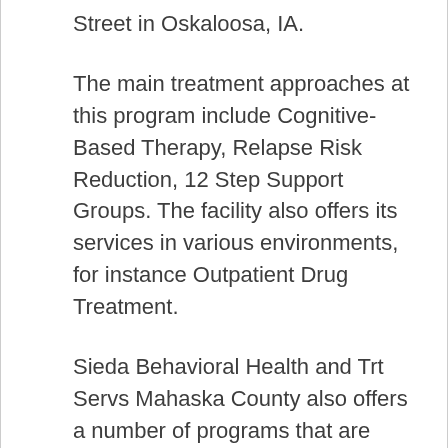Street in Oskaloosa, IA.
The main treatment approaches at this program include Cognitive-Based Therapy, Relapse Risk Reduction, 12 Step Support Groups. The facility also offers its services in various environments, for instance Outpatient Drug Treatment.
Sieda Behavioral Health and Trt Servs Mahaska County also offers a number of programs that are tailored to meet the needs of specific individuals such as: Drug Rehab for Teens, Continuing Care Programming, Substance Abuse Assessment. Lastly, Sieda Behavioral Health and Trt Servs Mahaska County accepts various payment types, including Self Payment, Cash Payment,